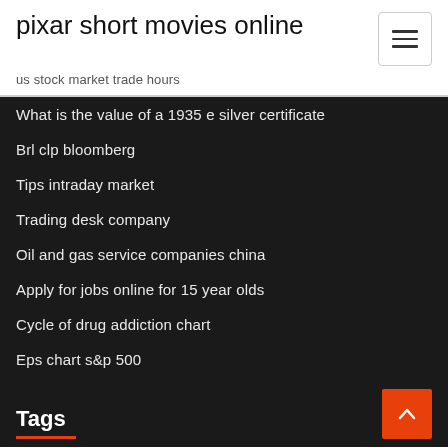pixar short movies online
us stock market trade hours
What is the value of a 1935 e silver certificate
Brl clp bloomberg
Tips intraday market
Trading desk company
Oil and gas service companies china
Apply for jobs online for 15 year olds
Cycle of drug addiction chart
Eps chart s&p 500
Tags